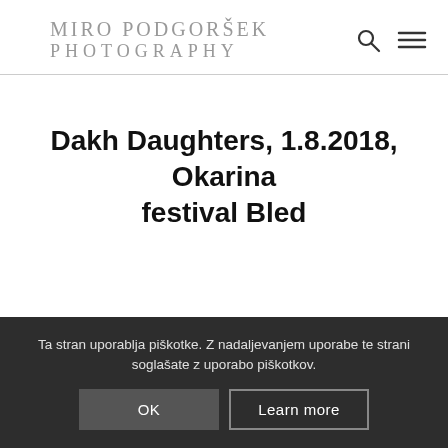MIRO PODGORŠEK PHOTOGRAPHY
Dakh Daughters, 1.8.2018, Okarina festival Bled
Ta stran uporablja piškotke. Z nadaljevanjem uporabe te strani soglašate z uporabo piškotkov.
OK
Learn more